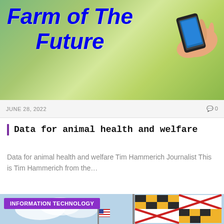[Figure (photo): Farm field background with hand holding smartphone, overlaid with bold blue italic text reading 'Farm of The Future']
JUNE 28, 2022
0
Data for animal health and welfare
Data for animal health and welfare Tim Hammerich Journalist This is Tim Hammerich from the…
[Figure (photo): Maryland state flag waving against a blue sky, with INFORMATION TECHNOLOGY badge overlay]